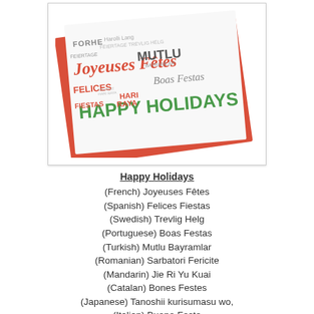[Figure (photo): A holiday greeting card lying at an angle on a red envelope. The card has a word-cloud design with holiday greetings in multiple languages including 'Joyeuses Fêtes', 'Happy Holidays', 'Boas Festas', 'Mutlu Bayramlar', 'Felices Fiestas' etc., printed in red, green, and gray typography.]
Happy Holidays
(French) Joyeuses Fêtes
(Spanish) Felices Fiestas
(Swedish) Trevlig Helg
(Portuguese) Boas Festas
(Turkish) Mutlu Bayramlar
(Romanian) Sarbatori Fericite
(Mandarin) Jie Ri Yu Kuai
(Catalan) Bones Festes
(Japanese) Tanoshii kurisumasu wo,
(Italian) Buono Feste